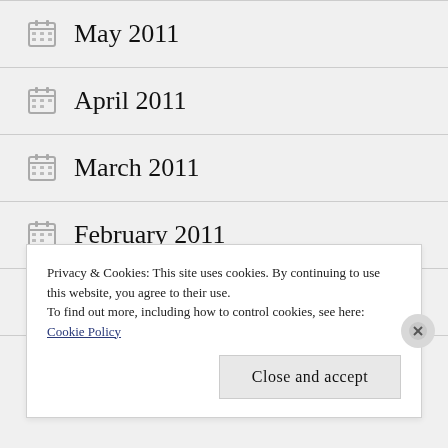May 2011
April 2011
March 2011
February 2011
January 2011
December 2010
Privacy & Cookies: This site uses cookies. By continuing to use this website, you agree to their use.
To find out more, including how to control cookies, see here:
Cookie Policy
Close and accept